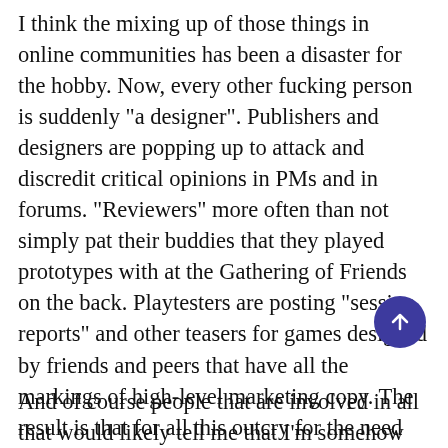I think the mixing up of those things in online communities has been a disaster for the hobby. Now, every other fucking person is suddenly "a designer". Publishers and designers are popping up to attack and discredit critical opinions in PMs and in forums. "Reviewers" more often than not simply pat their buddies that they played prototypes with at the Gathering of Friends on the back. Playtesters are posting "session reports" and other teasers for games designed by friends and peers that have all the markings of high-level marketing copy. The result is that for all this outcry for the need for "objectivity" (which is ludicrous when we're talking about reviews and opinions), there is nothing but entrenched discourse and one-sided dialogue.

And of course people that are involved in all that would likely tell me that I'm somehow